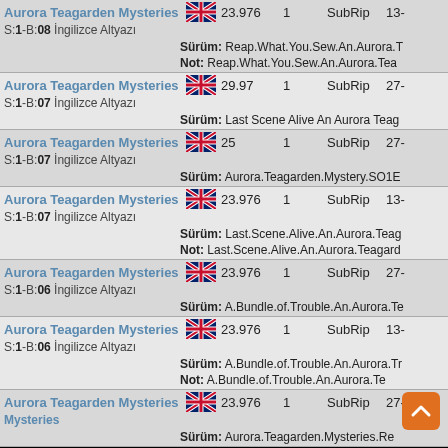| Title/Info | Flag | FPS | Num | Type | Last |
| --- | --- | --- | --- | --- | --- |
| Aurora Teagarden Mysteries
S:1-B:08 İngilizce Altyazı | UK | 23.976 | 1 | SubRip | 13-...
Sürüm: Reap.What.You.Sew.An.Aurora.T...
Not: Reap.What.You.Sew.An.Aurora.Tea... |
| Aurora Teagarden Mysteries
S:1-B:07 İngilizce Altyazı | UK | 29.97 | 1 | SubRip | 27-...
Sürüm: Last Scene Alive An Aurora Teag... |
| Aurora Teagarden Mysteries
S:1-B:07 İngilizce Altyazı | UK | 25 | 1 | SubRip | 27-...
Sürüm: Aurora.Teagarden.Mystery.SO1E... |
| Aurora Teagarden Mysteries
S:1-B:07 İngilizce Altyazı | UK | 23.976 | 1 | SubRip | 13-...
Sürüm: Last.Scene.Alive.An.Aurora.Teag...
Not: Last.Scene.Alive.An.Aurora.Teagard... |
| Aurora Teagarden Mysteries
S:1-B:06 İngilizce Altyazı | UK | 23.976 | 1 | SubRip | 27-...
Sürüm: A.Bundle.of.Trouble.An.Aurora.Te... |
| Aurora Teagarden Mysteries
S:1-B:06 İngilizce Altyazı | UK | 23.976 | 1 | SubRip | 13-...
Sürüm: A.Bundle.of.Trouble.An.Aurora.Tr...
Not: A.Bundle.of.Trouble.An.Aurora.Te... |
| Aurora Teagarden Mysteries | UK | 23.976 | 1 | SubRip | 27-...
Sürüm: Aurora.Teagarden.Mysteries.Re... |